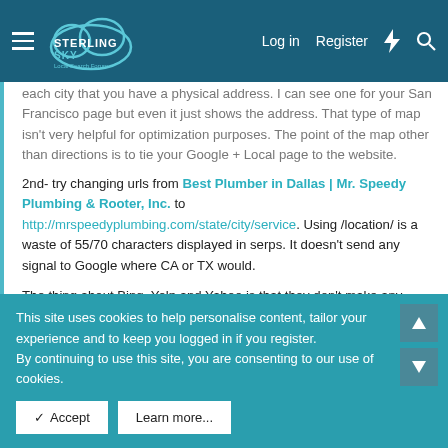Sterling Sky Local Search Forum — Log in | Register
each city that you have a physical address. I can see one for your San Francisco page but even it just shows the address. That type of map isn't very helpful for optimization purposes. The point of the map other than directions is to tie your Google + Local page to the website.
2nd- try changing urls from Best Plumber in Dallas | Mr. Speedy Plumbing & Rooter, Inc. to http://mrspeedyplumbing.com/state/city/service. Using /location/ is a waste of 55/70 characters displayed in serps. It doesn't send any signal to Google where CA or TX would.
The thing about Bing, Yelp and Yahoo is that they don't make any clients money - hence they will rarely make me money. ; )
This site uses cookies to help personalise content, tailor your experience and to keep you logged in if you register.
By continuing to use this site, you are consenting to our use of cookies.